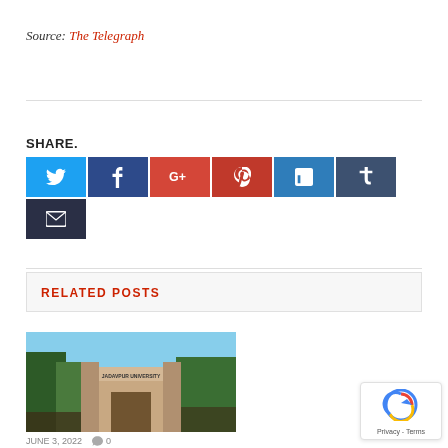Source: The Telegraph
SHARE.
[Figure (other): Social share buttons: Twitter, Facebook, Google+, Pinterest, LinkedIn, Tumblr, Email]
RELATED POSTS
[Figure (photo): Photo of Jadavpur University entrance gate with sign reading JADAVPUR UNIVERSITY]
JUNE 3, 2022  0